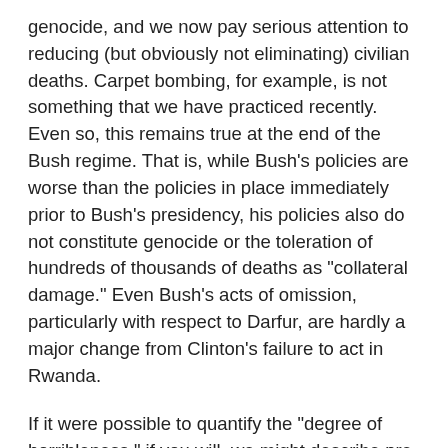genocide, and we now pay serious attention to reducing (but obviously not eliminating) civilian deaths. Carpet bombing, for example, is not something that we have practiced recently. Even so, this remains true at the end of the Bush regime. That is, while Bush's policies are worse than the policies in place immediately prior to Bush's presidency, his policies also do not constitute genocide or the toleration of hundreds of thousands of deaths as "collateral damage." Even Bush's acts of omission, particularly with respect to Darfur, are hardly a major change from Clinton's failure to act in Rwanda.
If it were possible to quantify the "degree of horribleness," if you will, we might describe pre-Bush policies and Bush's policies as being within a multiple or so of each other (perhaps less), whereas the difference between recent policies and our worst acts of the past is arguably a matter of orders of magnitude. There are many parallels between Vietnam and Iraq, but thankfully the body count (of both soldiers and civilians) is not close even on an annualized basis. The steps backward since 2001 have been important, but they thankfully have not wiped out the progress that we